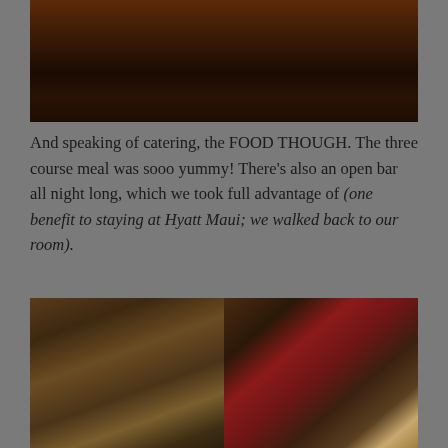[Figure (photo): Dark atmospheric photo, appears to be an outdoor evening/night scene with warm amber tones at the top]
And speaking of catering, the FOOD THOUGH. The three course meal was sooo yummy! There's also an open bar all night long, which we took full advantage of (one benefit to staying at Hyatt Maui; we walked back to our room).
[Figure (photo): Two side-by-side food photos: left shows a bowl with rice/grain dish with vegetables and fruits, right shows a plate with a dessert and red napkin on a wooden table surface]